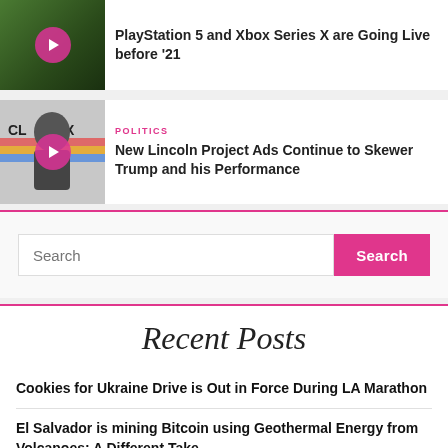[Figure (screenshot): Thumbnail with play button for PlayStation 5 and Xbox Series X article]
PlayStation 5 and Xbox Series X are Going Live before '21
[Figure (screenshot): Thumbnail with play button for New Lincoln Project Ads article showing a figure]
POLITICS
New Lincoln Project Ads Continue to Skewer Trump and his Performance
Search
Recent Posts
Cookies for Ukraine Drive is Out in Force During LA Marathon
El Salvador is mining Bitcoin using Geothermal Energy from Volcanoes: A Different Take